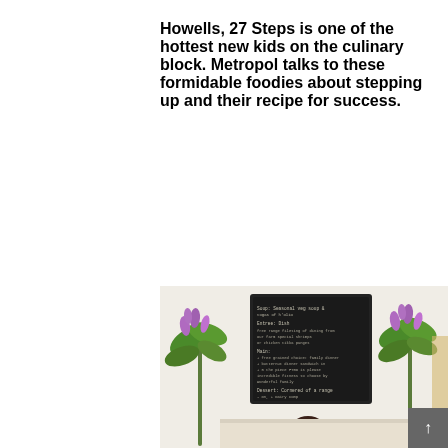Howells, 27 Steps is one of the hottest new kids on the culinary block. Metropol talks to these formidable foodies about stepping up and their recipe for success.
[Figure (photo): Photo of two people behind a counter with a chalkboard menu, flanked by flower arrangements with purple blooms]